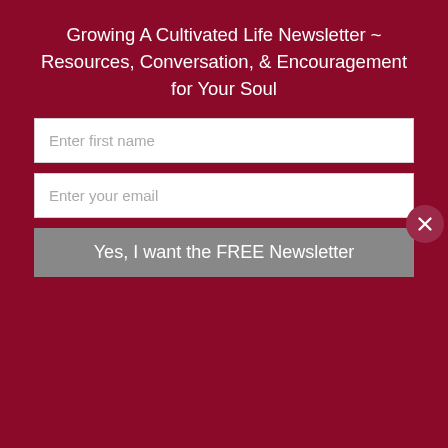Growing A Cultivated Life Newsletter ~ Resources, Conversation, & Encouragement for Your Soul
[Figure (other): Newsletter signup form with two text inputs (Enter first name, Enter your email) and a button (Yes, I want the FREE Newsletter), on dark red background with a close (X) button]
What about you dear one? Is it hard to say the words? Do you refuse admitting selfishness because maybe it makes you feel less than (less important, less valuable) in some way? It cannot take away your value in Christ.
This website uses cookies to improve your experience. We'll assume you're ok with this, but you can opt-out if you wish.
Accept  Read More
Share This